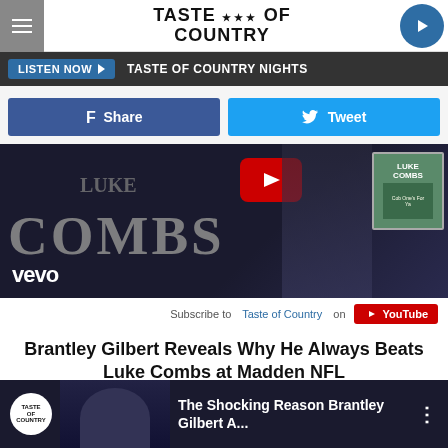Taste of Country
LISTEN NOW ▶  TASTE OF COUNTRY NIGHTS
Share   Tweet
[Figure (screenshot): Luke Combs VEVO music video thumbnail showing the text COMBS in large stylized letters, a red YouTube play button overlay, album art in top right corner, and vevo logo in bottom left]
Subscribe to Taste of Country on YouTube
Brantley Gilbert Reveals Why He Always Beats Luke Combs at Madden NFL
[Figure (screenshot): Taste of Country YouTube video thumbnail showing The Shocking Reason Brantley Gilbert A...]